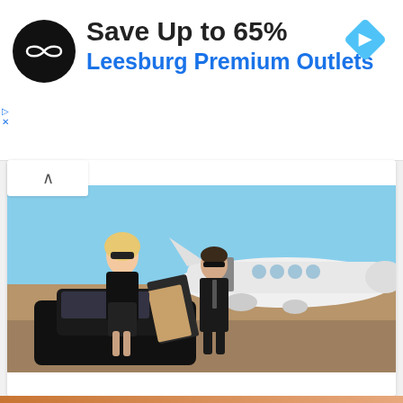[Figure (infographic): Advertisement banner: circular black logo with infinity/loop symbol, text 'Save Up to 65%' in bold dark, 'Leesburg Premium Outlets' in blue, blue diamond navigation arrow icon top right, small blue play and X icons top left]
Save Up to 65%
Leesburg Premium Outlets
[Figure (photo): Photo of a glamorous blonde woman in black outfit and sunglasses stepping out of a luxury car door, a man in black suit behind her, white private jet on tarmac in background]
Many people are flying private jet services for the first time. Here's what they're paying.
Private Jets | Sponsored
Learn More